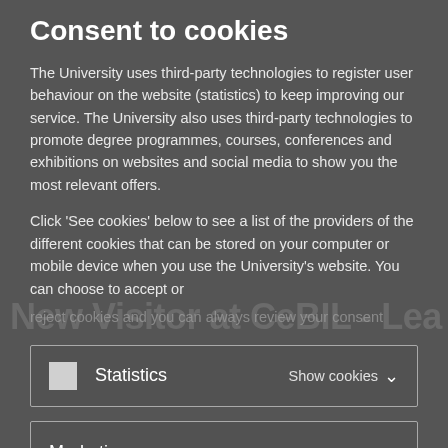Consent to cookies
The University uses third-party technologies to register user behaviour on the website (statistics) to keep improving our service. The University also uses third-party technologies to promote degree programmes, courses, conferences and exhibitions on websites and social media to show you the most relevant offers.
Click 'See cookies' below to see a list of the providers of the different cookies that can be stored on your computer or mobile device when you use the University's website. You can choose to accept or
reject cookies and you can always review your consent
Statistics   Show cookies ∨
Marketing